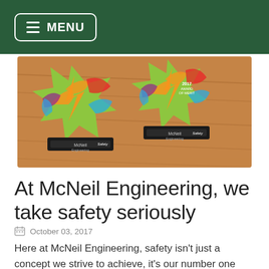MENU
[Figure (photo): Two colorful acrylic safety awards for McNeil Engineering on a wooden table background. The awards have green star-burst shapes with colorful accents and black bases labeled 'Safety'.]
At McNeil Engineering, we take safety seriously
October 03, 2017
Here at McNeil Engineering, safety isn't just a concept we strive to achieve, it's our number one priority. Every day we take steps to protect our